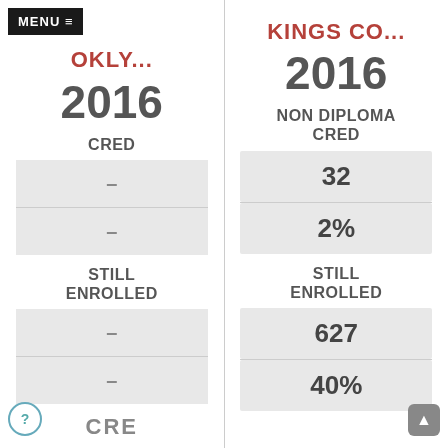MENU ≡
BRO OKLY...
2016
CRED
| – |
| – |
STILL ENROLLED
| – |
| – |
KINGS CO...
2016
NON DIPLOMA CRED
| 32 |
| 2% |
STILL ENROLLED
| 627 |
| 40% |